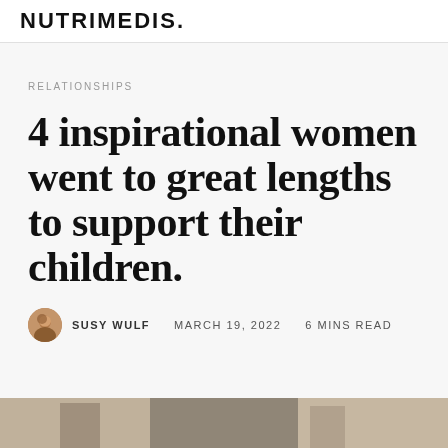NUTRIMEDIS.
RELATIONSHIPS
4 inspirational women went to great lengths to support their children.
SUSY WULF   MARCH 19, 2022   6 MINS READ
[Figure (photo): Bottom portion of a photo showing people, partially visible at the base of the page]